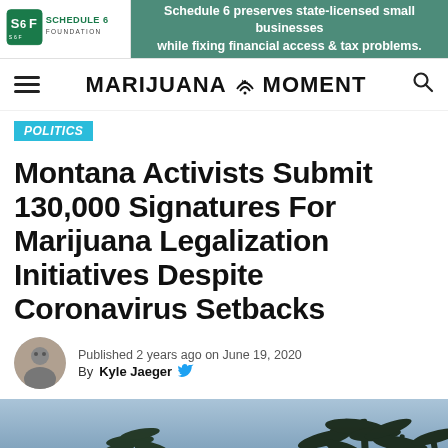[Figure (logo): Schedule 6 Foundation logo with S6F icon and text]
Schedule 6 preserves state-licensed small businesses while fixing financial access & tax problems.
MARIJUANA MOMENT
POLITICS
Montana Activists Submit 130,000 Signatures For Marijuana Legalization Initiatives Despite Coronavirus Setbacks
Published 2 years ago on June 19, 2020
By Kyle Jaeger
[Figure (photo): Cannabis/marijuana plants photographed against a blue-grey sky background]